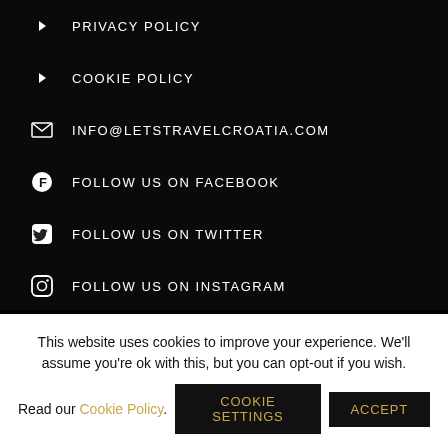PRIVACY POLICY
COOKIE POLICY
INFO@LETSTRAVELCROATIA.COM
FOLLOW US ON FACEBOOK
FOLLOW US ON TWITTER
FOLLOW US ON INSTAGRAM
FOLLOW US ON TRIP ADVISOR
FOLLOW US ON PINTEREST
This website uses cookies to improve your experience. We'll assume you're ok with this, but you can opt-out if you wish. Read our Cookie Policy. Cookie settings ACCEPT